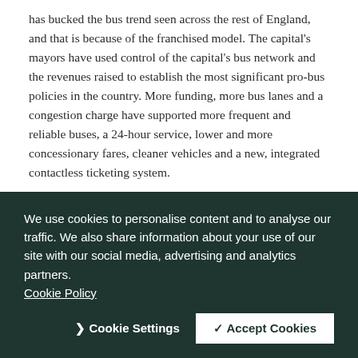has bucked the bus trend seen across the rest of England, and that is because of the franchised model. The capital's mayors have used control of the capital's bus network and the revenues raised to establish the most significant pro-bus policies in the country. More funding, more bus lanes and a congestion charge have supported more frequent and reliable buses, a 24-hour service, lower and more concessionary fares, cleaner vehicles and a new, integrated contactless ticketing system.
While an Enhanced Partnership approach, as promulgated by the Bus Back Better strategy, might seem the easier option as the next step towards reregulation, only franchising will allow mayors meaningful controls over cities' bus networks. Without
We use cookies to personalise content and to analyse our traffic. We also share information about your use of our site with our social media, advertising and analytics partners. Cookie Policy